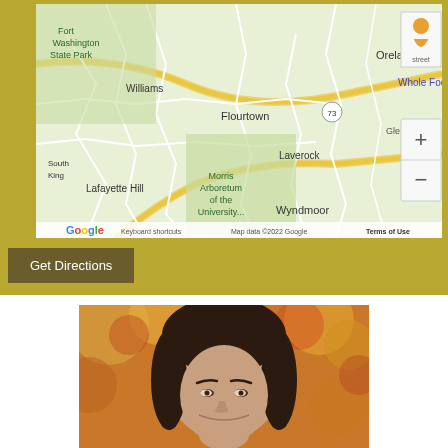[Figure (map): Google Maps screenshot showing area around Flourtown, Pennsylvania including Fort Washington State Park, Lafayette Hill, Morris Arboretum, Laverock, Wyndmoor, Oreland, with Google logo and map controls visible]
Get Directions
[Figure (photo): Portrait photo of a woman with dark hair and bangs, smiling, with blurred autumn foliage in the background]